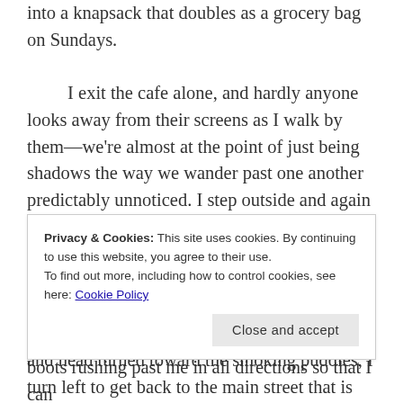into a knapsack that doubles as a grocery bag on Sundays.

	I exit the cafe alone, and hardly anyone looks away from their screens as I walk by them—we're almost at the point of just being shadows the way we wander past one another predictably unnoticed. I step outside and again regret having forgotten my umbrella. Instead I am trapped within the cold, damp embrace of what a discount clothing website confidently referred to as a rain jacket, but is in fact about as waterproof as a summer dress. Arms folded and head turned toward the smoking puddles, I turn left to get back to the main street that is
Privacy & Cookies: This site uses cookies. By continuing to use this website, you agree to their use.
To find out more, including how to control cookies, see here: Cookie Policy
Close and accept
boots rushing past me in all directions so that I can